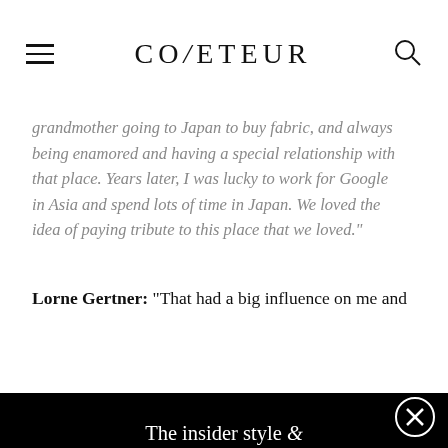COVETEUR
grandmother going to Japan to buy fabric, and always being enamored and having a special relationship with that place. Years later, I was lucky to work for Google in Asia and spend lots of time in Japan. We loved the idea of paying tribute to this place that we loved."
Lorne Gertner: “That had a big influence on me and
The insider style & beauty essentials you need. Direct to your inbox, every day.
EMAIL@EXAMPLE.COM
SIGN UP